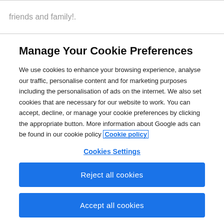friends and family!.
Manage Your Cookie Preferences
We use cookies to enhance your browsing experience, analyse our traffic, personalise content and for marketing purposes including the personalisation of ads on the internet. We also set cookies that are necessary for our website to work. You can accept, decline, or manage your cookie preferences by clicking the appropriate button. More information about Google ads can be found in our cookie policy Cookie policy
Cookies Settings
Reject all cookies
Accept all cookies